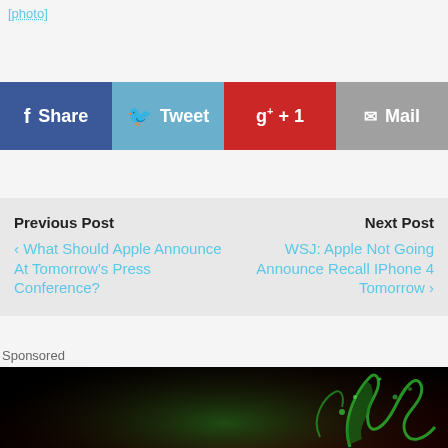[photo]
f Share | Tweet | g+ +1 | Mail
Previous Post
‹ What Should Apple Announce At Tomorrow's Press Conference?
Next Post
WSJ: Apple Not Going Announce Recall IPhone 4 Tomorrow ›
Sponsored
[Figure (photo): Green liquid splashing into a glass with ice, on a dark background with red tones]